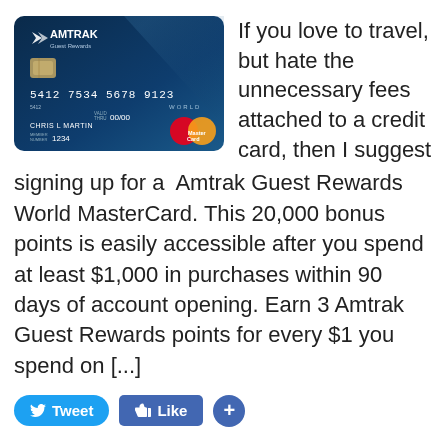[Figure (photo): Amtrak Guest Rewards World MasterCard credit card image showing card number 5412 7534 5678 9123, cardholder CHRIS L MARTIN, member number 1234, valid thru 00/00, dark navy blue design with Amtrak logo and MasterCard logo]
If you love to travel, but hate the unnecessary fees attached to a credit card, then I suggest signing up for a Amtrak Guest Rewards World MasterCard. This 20,000 bonus points is easily accessible after you spend at least $1,000 in purchases within 90 days of account opening. Earn 3 Amtrak Guest Rewards points for every $1 you spend on [...]
[Figure (screenshot): Social sharing buttons: Tweet button (Twitter blue), Like button (Facebook blue), and a plus button (Facebook blue circle)]
Best Amtrak Travel